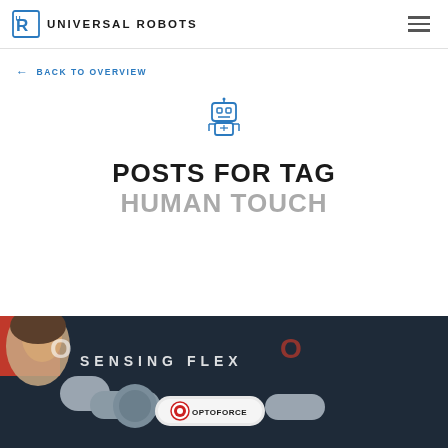UNIVERSAL ROBOTS
← BACK TO OVERVIEW
[Figure (illustration): Blue robot face icon (cartoon robot head with eyes and body)]
POSTS FOR TAG
HUMAN TOUCH
[Figure (photo): Photo showing a person near a robotic arm with OptoForce sensor, background shows OPTOFORCE SENSING FLEX branding on dark background]